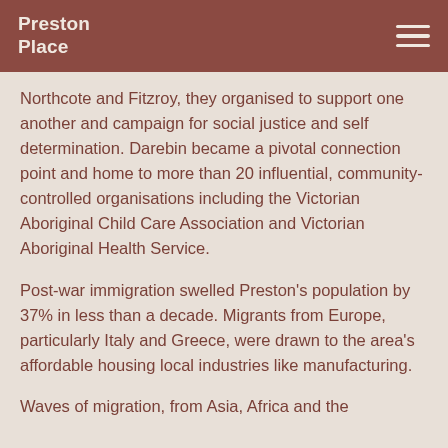Preston Place
Northcote and Fitzroy, they organised to support one another and campaign for social justice and self determination. Darebin became a pivotal connection point and home to more than 20 influential, community-controlled organisations including the Victorian Aboriginal Child Care Association and Victorian Aboriginal Health Service.
Post-war immigration swelled Preston's population by 37% in less than a decade. Migrants from Europe, particularly Italy and Greece, were drawn to the area's affordable housing local industries like manufacturing.
Waves of migration, from Asia, Africa and the